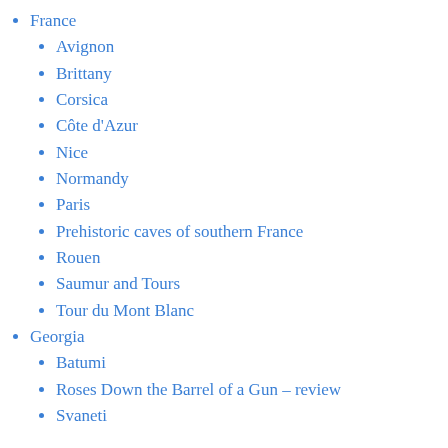France
Avignon
Brittany
Corsica
Côte d'Azur
Nice
Normandy
Paris
Prehistoric caves of southern France
Rouen
Saumur and Tours
Tour du Mont Blanc
Georgia
Batumi
Roses Down the Barrel of a Gun – review
Svaneti